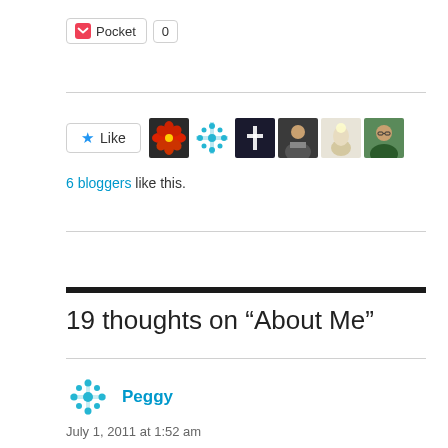[Figure (screenshot): Pocket save button with count of 0]
[Figure (screenshot): Like button with star icon and 6 blogger avatar thumbnails]
6 bloggers like this.
19 thoughts on “About Me”
Peggy
July 1, 2011 at 1:52 am
Yeahh! You have a blog now. We can be “blog